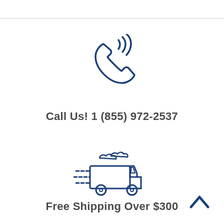[Figure (illustration): Phone handset icon with signal waves, drawn in dark blue outline style]
Call Us! 1 (855) 972-2537
[Figure (illustration): Fast delivery truck icon with speed lines and clouds, drawn in dark blue outline style]
Free Shipping Over $300
[Figure (illustration): Upward chevron/caret arrow button in dark blue]